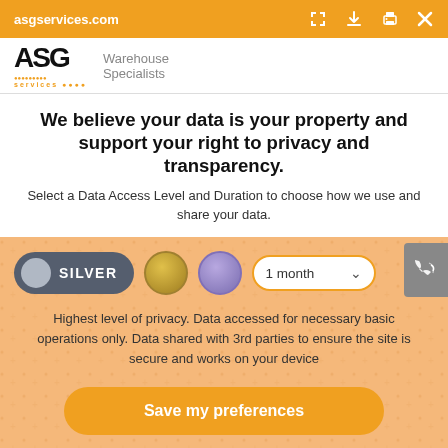asgservices.com
[Figure (screenshot): Browser toolbar with orange background showing URL asgservices.com and icons for fullscreen, download, print, and close]
[Figure (logo): ASG services logo with dots pattern and 'Warehouse Specialists' text]
We believe your data is your property and support your right to privacy and transparency.
Select a Data Access Level and Duration to choose how we use and share your data.
[Figure (infographic): Privacy controls showing SILVER toggle selected, gold circle, purple circle, and '1 month' dropdown selector]
Highest level of privacy. Data accessed for necessary basic operations only. Data shared with 3rd parties to ensure the site is secure and works on your device
Save my preferences
Customize
Privacy policy